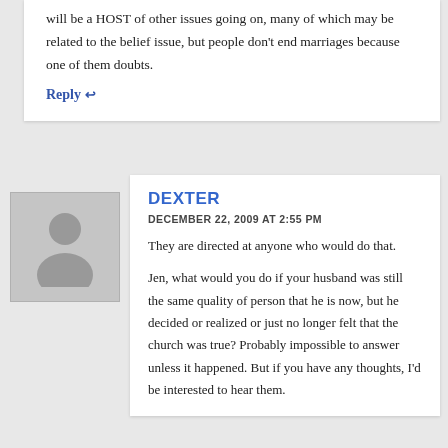will be a HOST of other issues going on, many of which may be related to the belief issue, but people don't end marriages because one of them doubts.
Reply ↩
[Figure (illustration): Generic user avatar silhouette on grey background]
DEXTER
DECEMBER 22, 2009 AT 2:55 PM
They are directed at anyone who would do that.

Jen, what would you do if your husband was still the same quality of person that he is now, but he decided or realized or just no longer felt that the church was true? Probably impossible to answer unless it happened. But if you have any thoughts, I'd be interested to hear them.